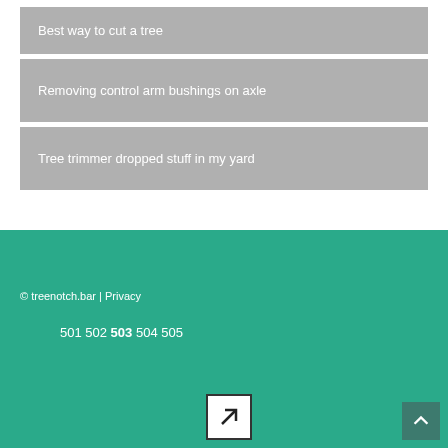Best way to cut a tree
Removing control arm bushings on axle
Tree trimmer dropped stuff in my yard
© treenotch.bar | Privacy
501 502 503 504 505